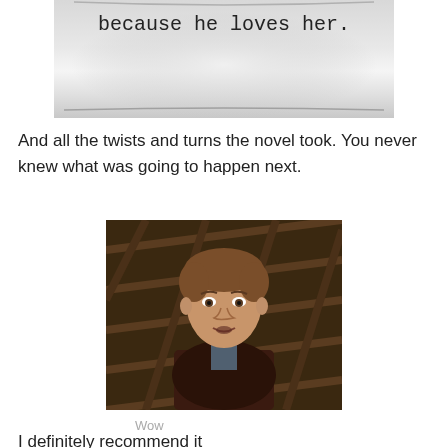[Figure (photo): Partial image of book/page text reading 'because he loves her.' on a light grey blurred background]
And all the twists and turns the novel took. You never knew what was going to happen next.
[Figure (photo): A young brown-haired man with a surprised or stunned expression, wearing a dark jacket, in front of a wooden lattice background (appears to be a TV/film still)]
Wow
I definitely recommend it